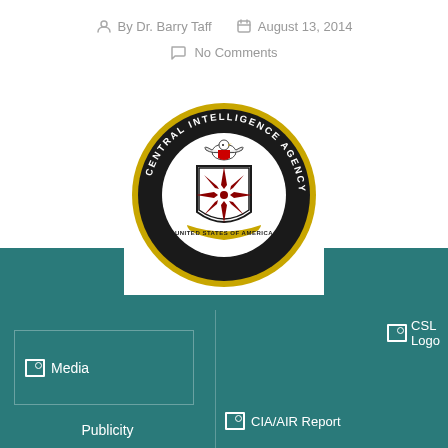By Dr. Barry Taff  August 13, 2014
No Comments
[Figure (logo): CIA seal / Central Intelligence Agency logo — black circular seal with eagle, compass star, and 'United States of America' banner on gold/yellow border]
[Figure (logo): Broken image placeholder labeled 'CSL Logo']
[Figure (photo): Broken image placeholder labeled 'Media']
Publicity
[Figure (photo): Broken image placeholder labeled 'CIA/AIR Report']